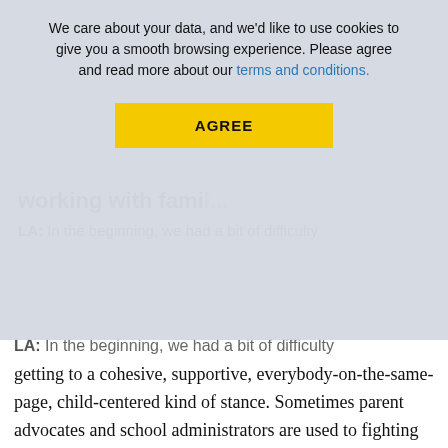[Figure (screenshot): Cookie consent banner overlay with text: 'We care about your data, and we'd like to use cookies to give you a smooth browsing experience. Please agree and read more about our terms and conditions.' with a yellow AGREE button.]
working with famil...
LA: In the beginning, we had a bit of difficulty getting to a cohesive, supportive, everybody-on-the-same-page, child-centered kind of stance. Sometimes parent advocates and school administrators are used to fighting each other. So we had to work through that just a little bit when we had them on the same board. But by the second meeting, it was already better. And now, a couple of years into it, arguments are never an issue. People are